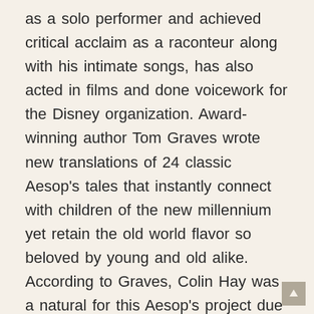as a solo performer and achieved critical acclaim as a raconteur along with his intimate songs, has also acted in films and done voicework for the Disney organization. Award-winning author Tom Graves wrote new translations of 24 classic Aesop's tales that instantly connect with children of the new millennium yet retain the old world flavor so beloved by young and old alike. According to Graves, Colin Hay was a natural for this Aesop's project due to his Scottish accent with its slight twist of Down Under. “Colin has a wonderful accent and speaking voice that I thought would be perfect for Aesop’s, giving it a touch of the old world but with an unmistakable modern